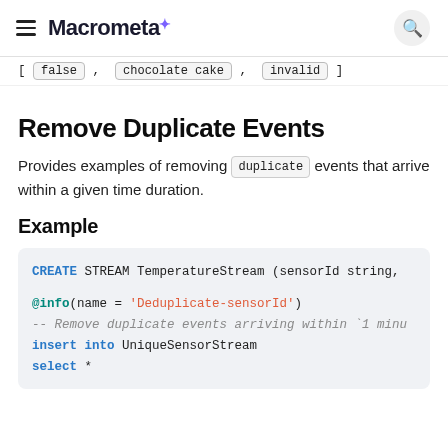Macrometa
[ false , chocolate cake , invalid ]
Remove Duplicate Events
Provides examples of removing duplicate events that arrive within a given time duration.
Example
CREATE STREAM TemperatureStream (sensorId string,

@info(name = 'Deduplicate-sensorId')
-- Remove duplicate events arriving within `1 minu
insert into UniqueSensorStream
select *